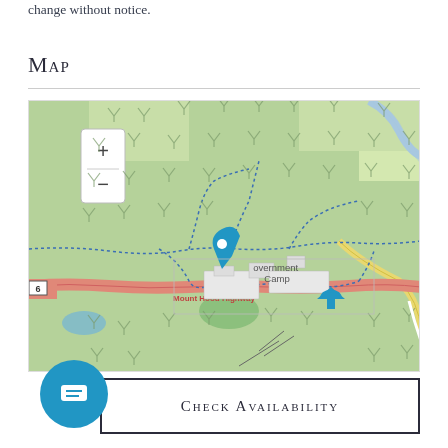change without notice.
Map
[Figure (map): Interactive map showing Government Camp area near Mount Hood Highway, Oregon. A blue location pin marks the Government Camp area. Map includes zoom controls (+/-), dotted blue trail lines, a salmon-colored highway (Mount Hood Highway), a yellow road, green forested areas with tree symbols, and a blue landmark icon. The town label reads 'Government Camp' and the road label reads 'Mount Hood Highway'.]
Check Availability